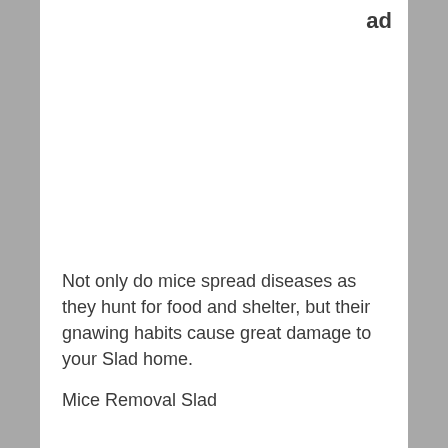ad
Not only do mice spread diseases as they hunt for food and shelter, but their gnawing habits cause great damage to your Slad home.
Mice Removal Slad